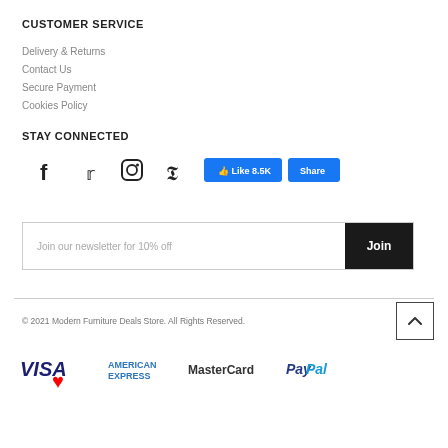CUSTOMER SERVICE
Delivery & Returns
Contact Us
Secure Payment
Cookies Policy
STAY CONNECTED
[Figure (infographic): Social media icons: Facebook, Twitter, Instagram, Pinterest; Facebook Like button showing 8.5K likes and Share button]
[Figure (infographic): Newsletter signup box with text 'Join our newsletter for 10% off' and a Join button]
© 2021 Modern Furniture Deals Store. All Rights Reserved.
[Figure (logo): Payment method logos: VISA, American Express, MasterCard, PayPal; with a red heart icon overlay on VISA]